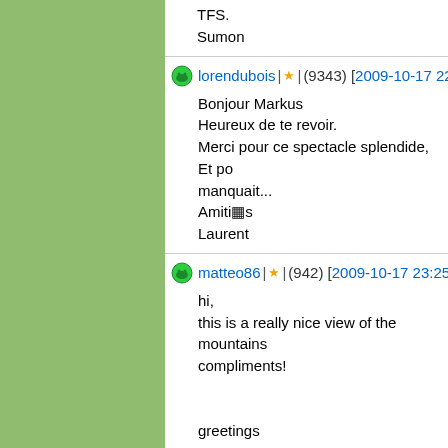TFS.
Sumon
lorendubois | ★ | (9343) [2009-10-17 22:42]
Bonjour Markus
Heureux de te revoir.
Merci pour ce spectacle splendide, Et po
manquait...
Amiti�s
Laurent
matteo86 | ★ | (942) [2009-10-17 23:25]
hi,
this is a really nice view of the mountains
compliments!

greetings
Matteo
foozi | ★ | (25839) [2009-10-18 0:24]
Hi Markus,
what to say to this so splendid and lovely
Very captivating in great sharpness and s
of the world looking at it.
Your stitch is excellent.

Regards,